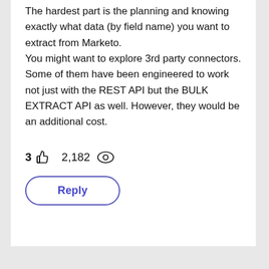The hardest part is the planning and knowing exactly what data (by field name) you want to extract from Marketo. You might want to explore 3rd party connectors. Some of them have been engineered to work not just with the REST API but the BULK EXTRACT API as well. However, they would be an additional cost.
3 👍 2,182 👁 Reply